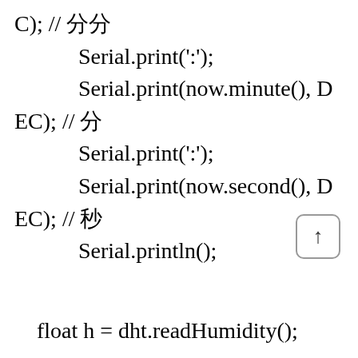C); // 分
    Serial.print(':');
    Serial.print(now.minute(), DEC); // 分
    Serial.print(':');
    Serial.print(now.second(), DEC); // 秒
    Serial.println();
float h = dht.readHumidity();